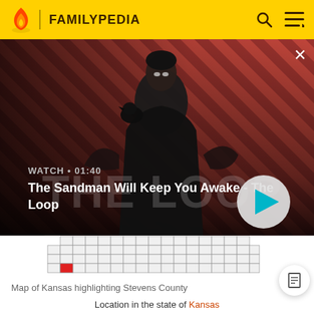FAMILYPEDIA
[Figure (screenshot): Video thumbnail for 'The Sandman Will Keep You Awake - The Loop' showing a dark-robed figure with a raven on a diagonal striped red/dark background. Overlay text shows WATCH 01:40 and the title. A circular play button is shown at the bottom right of the thumbnail.]
[Figure (map): Map of Kansas highlighting Stevens County with a red square marker in the lower left area of the state.]
Map of Kansas highlighting Stevens County
Location in the state of Kansas